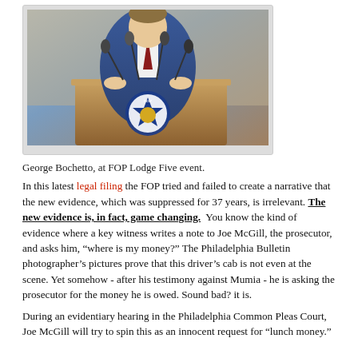[Figure (photo): George Bochetto standing at a podium with FOP (Fraternal Order of Police) Lodge logo, surrounded by microphones at a press conference or event.]
George Bochetto, at FOP Lodge Five event.
In this latest legal filing the FOP tried and failed to create a narrative that the new evidence, which was suppressed for 37 years, is irrelevant. The new evidence is, in fact, game changing. You know the kind of evidence where a key witness writes a note to Joe McGill, the prosecutor, and asks him, “where is my money?” The Philadelphia Bulletin photographer’s pictures prove that this driver’s cab is not even at the scene. Yet somehow - after his testimony against Mumia - he is asking the prosecutor for the money he is owed. Sound bad? it is.
During an evidentiary hearing in the Philadelphia Common Pleas Court, Joe McGill will try to spin this as an innocent request for “lunch money.”